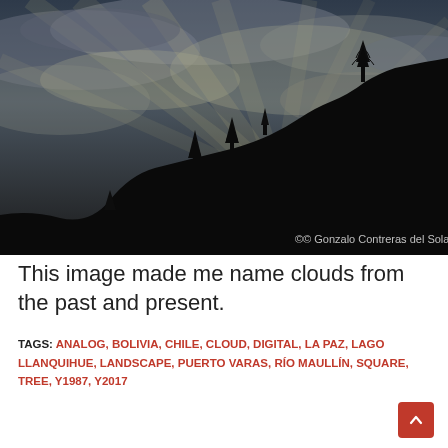[Figure (photo): A dramatic landscape photograph showing a dark silhouetted hillside with trees against a cloudy sky with rays of light breaking through. Copyright watermark reads: ©© Gonzalo Contreras del Solar]
This image made me name clouds from the past and present.
TAGS: ANALOG, BOLIVIA, CHILE, CLOUD, DIGITAL, LA PAZ, LAGO LLANQUIHUE, LANDSCAPE, PUERTO VARAS, RÍO MAULLÍN, SQUARE, TREE, Y1987, Y2017